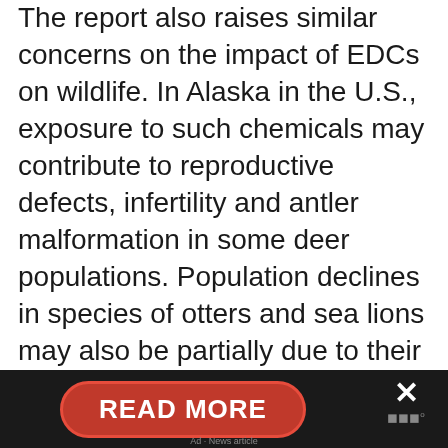The report also raises similar concerns on the impact of EDCs on wildlife. In Alaska in the U.S., exposure to such chemicals may contribute to reproductive defects, infertility and antler malformation in some deer populations. Population declines in species of otters and sea lions may also be partially due to their exposure to diverse mixtures of PCBs, the insecticide DDT, other persistent organic pollutants and metals such as mercury. Meanwhile, bans and restrictions on the use of EDCs have been associated with the recovery of wildlife populations and a reduction in health problems.
[Figure (other): Dark footer bar with a red pill-shaped 'READ MORE' button on the left and an X close button on the right with a weather icon below it]